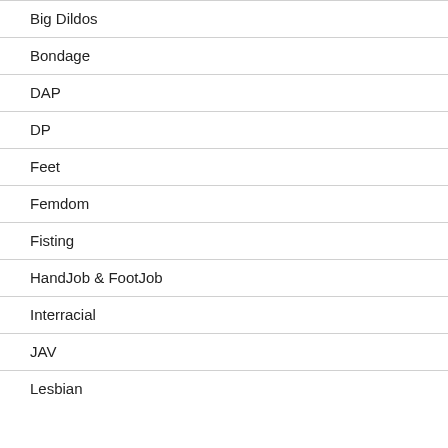Big Dildos
Bondage
DAP
DP
Feet
Femdom
Fisting
HandJob & FootJob
Interracial
JAV
Lesbian